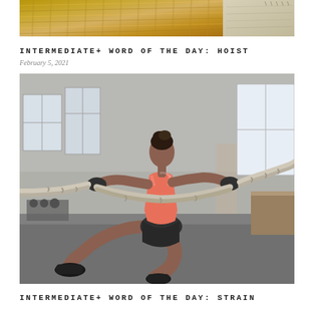[Figure (photo): Top portion of an image showing what appears to be straw or bamboo material with sandy/concrete background, partially cropped at top of page]
INTERMEDIATE+ WORD OF THE DAY: HOIST
February 5, 2021
[Figure (photo): A woman in a pink sports bra and black shorts doing a battle rope exercise in a gym, squatting low while pulling thick ropes, wearing black gloves and sneakers]
INTERMEDIATE+ WORD OF THE DAY: STRAIN